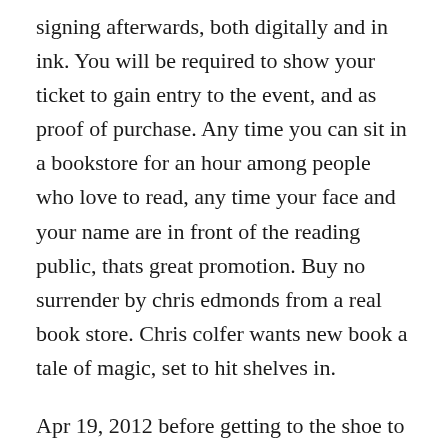signing afterwards, both digitally and in ink. You will be required to show your ticket to gain entry to the event, and as proof of purchase. Any time you can sit in a bookstore for an hour among people who love to read, any time your face and your name are in front of the reading public, thats great promotion. Buy no surrender by chris edmonds from a real book store. Chris colfer wants new book a tale of magic, set to hit shelves in.
Apr 19, 2012 before getting to the shoe to take in meyers osu spring game coaching